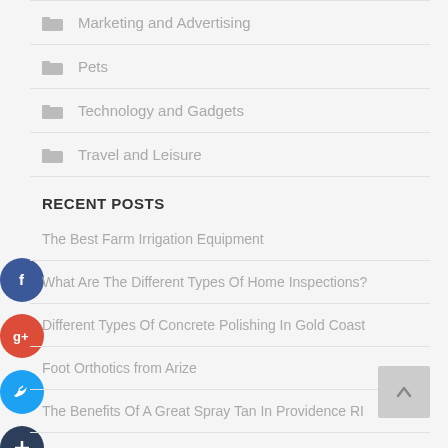Marketing and Advertising
Pets
Technology and Gadgets
Travel and Leisure
RECENT POSTS
The Best Farm Irrigation Equipment
What Are The Different Types Of Home Inspections?
Different Types Of Concrete Polishing In Gold Coast
Foot Orthotics from Arize
The Benefits Of A Great Spray Tan In Providence RI